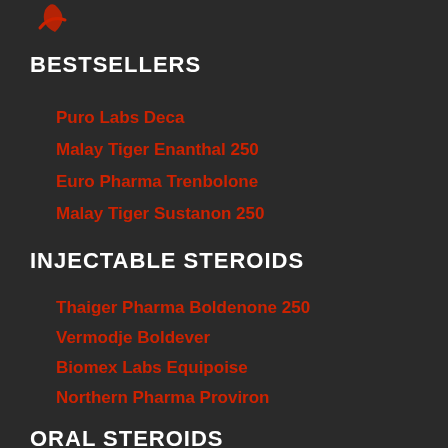[Figure (logo): Red swoosh/flame logo mark at the top left]
BESTSELLERS
Puro Labs Deca
Malay Tiger Enanthal 250
Euro Pharma Trenbolone
Malay Tiger Sustanon 250
INJECTABLE STEROIDS
Thaiger Pharma Boldenone 250
Vermodje Boldever
Biomex Labs Equipoise
Northern Pharma Proviron
ORAL STEROIDS
Thaiger Pharma Stanozolol